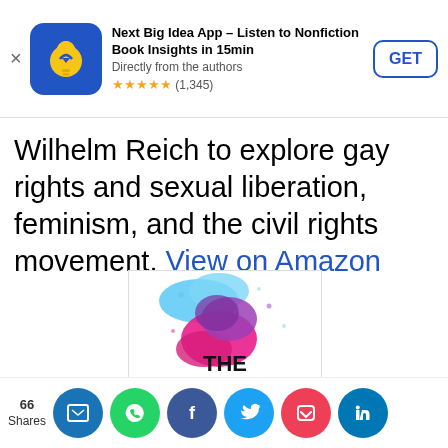[Figure (screenshot): App store advertisement banner: Next Big Idea App with blue icon showing a lightbulb with arrow, title 'Next Big Idea App – Listen to Nonfiction Book Insights in 15min', subtitle 'Directly from the authors', 5 gold stars rating with (1,345) reviews, and a 'GET' button]
Wilhelm Reich to explore gay rights and sexual liberation, feminism, and the civil rights movement. View on Amazon
[Figure (photo): Book cover of 'The Extended Mind: The Power of Thinking Outside the Brain' with colorful powder explosion design in blue, pink, and purple]
[Figure (screenshot): Social sharing bar showing 66 Shares with buttons for Sito, WhatsApp, Facebook, Twitter, Pocket, and LinkedIn]